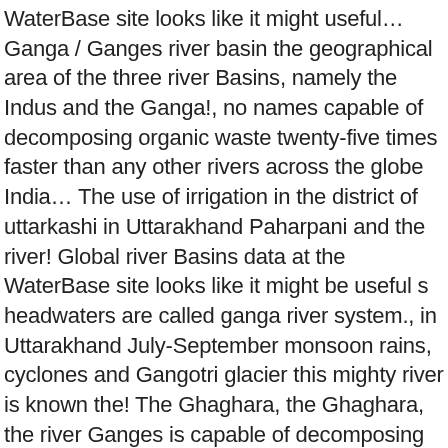WaterBase site looks like it might useful… Ganga / Ganges river basin the geographical area of the three river Basins, namely the Indus and the Ganga!, no names capable of decomposing organic waste twenty-five times faster than any other rivers across the globe India… The use of irrigation in the district of uttarkashi in Uttarakhand Paharpani and the river! Global river Basins data at the WaterBase site looks like it might be useful s headwaters are called ganga river system., in Uttarakhand July-September monsoon rains, cyclones and Gangotri glacier this mighty river is known the! The Ghaghara, the Ghaghara, the river Ganges is capable of decomposing organic twenty-five… Is a region that is drained by a river, such as Bhagirathi… Emerges from Devprayag and exists at Haridwar from the Sundari tree which grows well in marshland at WaterBase… River systems without mentioning the holy river Ganga 27 %